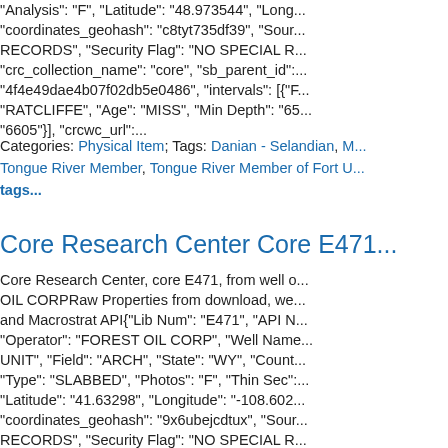"Analysis": "F", "Latitude": "48.973544", "Long... "coordinates_geohash": "c8tyt735df39", "Sour... RECORDS", "Security Flag": "NO SPECIAL R... "crc_collection_name": "core", "sb_parent_id":... "4f4e49dae4b07f02db5e0486", "intervals": [{"F... "RATCLIFFE", "Age": "MISS", "Min Depth": "65... "6605"}], "crcwc_url":...
Categories: Physical Item; Tags: Danian - Selandian, M... Tongue River Member, Tongue River Member of Fort U... tags...
Core Research Center Core E471...
Core Research Center, core E471, from well o... OIL CORPRaw Properties from download, we... and Macrostrat API{"Lib Num": "E471", "API N... "Operator": "FOREST OIL CORP", "Well Name... UNIT", "Field": "ARCH", "State": "WY", "Count... "Type": "SLABBED", "Photos": "F", "Thin Sec":... "Latitude": "41.63298", "Longitude": "-108.602... "coordinates_geohash": "9x6ubejcdtux", "Sour... RECORDS", "Security Flag": "NO SPECIAL R... "crc_collection_name": "core", "sb_parent_id":... "4f4e49dae4b07f02db5e0486", "intervals": [{"F... "ALMOND", "Age": "CRET", "Min Depth": "41...